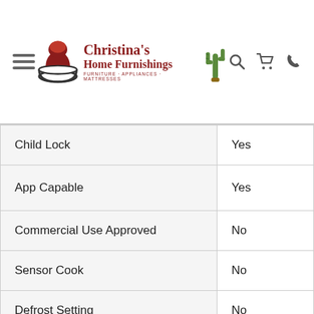Christina's Home Furnishings — FURNITURE · APPLIANCES · MATTRESSES
| Feature | Value |
| --- | --- |
| Child Lock | Yes |
| App Capable | Yes |
| Commercial Use Approved | No |
| Sensor Cook | No |
| Defrost Setting | No |
| One Touch Setting | Yes |
| Microwave Door Release | Pull Handle |